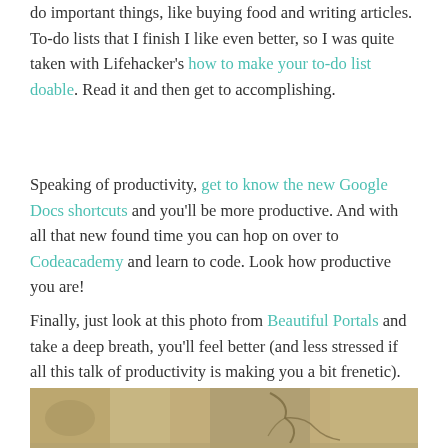do important things, like buying food and writing articles. To-do lists that I finish I like even better, so I was quite taken with Lifehacker's how to make your to-do list doable. Read it and then get to accomplishing.
Speaking of productivity, get to know the new Google Docs shortcuts and you'll be more productive. And with all that new found time you can hop on over to Codeacademy and learn to code. Look how productive you are!
Finally, just look at this photo from Beautiful Portals and take a deep breath, you'll feel better (and less stressed if all this talk of productivity is making you a bit frenetic).
[Figure (photo): A close-up photograph of cracked, dry earth or stone surface in sandy/beige tones]